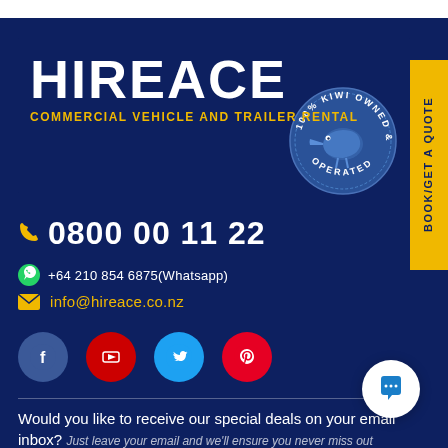[Figure (logo): HIREACE commercial vehicle and trailer rental logo with white bold text and yellow subtitle on dark blue background, with a circular 100% Kiwi Owned & Operated badge]
0800 00 11 22
+64 210 854 6875(Whatsapp)
info@hireace.co.nz
[Figure (illustration): Social media icons row: Facebook (blue), YouTube (red), Twitter (cyan), Pinterest (red)]
Would you like to receive our special deals on your email inbox? Just leave your email and we'll ensure you never miss out
BOOK/GET A QUOTE